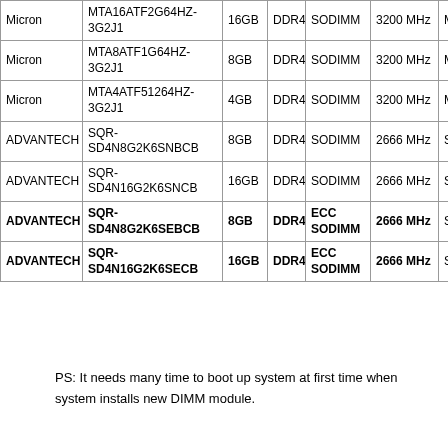| Vendor | Part Number | Capacity | Type | Form Factor | Speed | Status |
| --- | --- | --- | --- | --- | --- | --- |
| Micron | MTA16ATF2G64HZ-3G2J1 | 16GB | DDR4 | SODIMM | 3200 MHz | M |
| Micron | MTA8ATF1G64HZ-3G2J1 | 8GB | DDR4 | SODIMM | 3200 MHz | M |
| Micron | MTA4ATF51264HZ-3G2J1 | 4GB | DDR4 | SODIMM | 3200 MHz | M |
| ADVANTECH | SQR-SD4N8G2K6SNBCB | 8GB | DDR4 | SODIMM | 2666 MHz | S |
| ADVANTECH | SQR-SD4N16G2K6SNCB | 16GB | DDR4 | SODIMM | 2666 MHz | S |
| ADVANTECH | SQR-SD4N8G2K6SEBCB | 8GB | DDR4 | ECC SODIMM | 2666 MHz | S |
| ADVANTECH | SQR-SD4N16G2K6SECB | 16GB | DDR4 | ECC SODIMM | 2666 MHz | S |
PS: It needs many time to boot up system at first time when system installs new DIMM module.